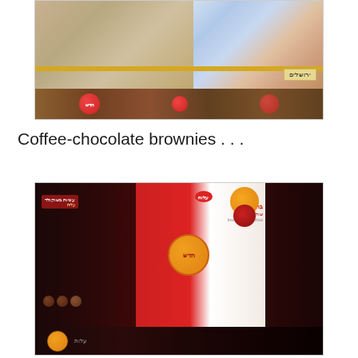[Figure (photo): Photo of store shelf displaying Israeli snack food packages with Hebrew text and red circular logos, top portion of shelf visible]
Coffee-chocolate brownies . . .
[Figure (photo): Photo of coffee-chocolate brownie packages (bra'anim shokola'd kafe) in red and dark brown packaging with Hebrew text and cartoon character, on a dark store shelf]